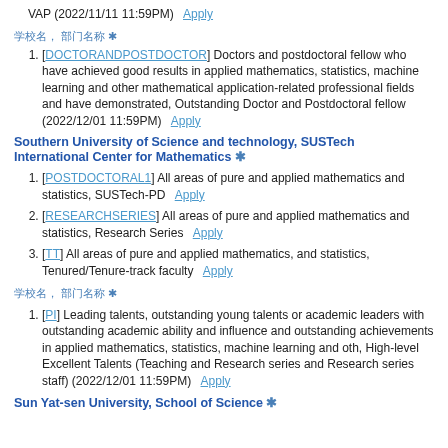VAP (2022/11/11 11:59PM)   Apply
[CJK text], [CJK text] *
[DOCTORANDPOSTDOCTOR] Doctors and postdoctoral fellow who have achieved good results in applied mathematics, statistics, machine learning and other mathematical application-related professional fields and have demonstrated, Outstanding Doctor and Postdoctoral fellow (2022/12/01 11:59PM)   Apply
Southern University of Science and technology, SUSTech International Center for Mathematics *
[POSTDOCTORAL1] All areas of pure and applied mathematics and statistics, SUSTech-PD   Apply
[RESEARCHSERIES] All areas of pure and applied mathematics and statistics, Research Series   Apply
[TT] All areas of pure and applied mathematics, and statistics, Tenured/Tenure-track faculty   Apply
[CJK text], [CJK text] *
[PI] Leading talents, outstanding young talents or academic leaders with outstanding academic ability and influence and outstanding achievements in applied mathematics, statistics, machine learning and oth, High-level Excellent Talents (Teaching and Research series and Research series staff) (2022/12/01 11:59PM)   Apply
Sun Yat-sen University, School of Science *